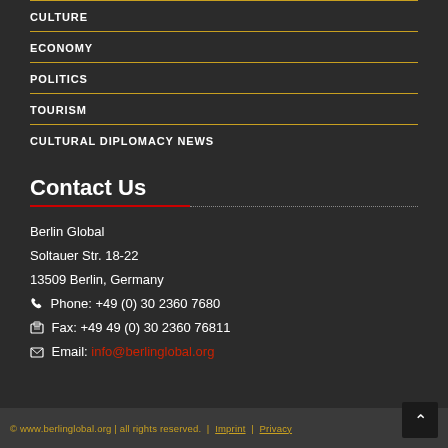CULTURE
ECONOMY
POLITICS
TOURISM
CULTURAL DIPLOMACY NEWS
Contact Us
Berlin Global
Soltauer Str. 18-22
13509 Berlin, Germany
Phone: +49 (0) 30 2360 7680
Fax: +49 49 (0) 30 2360 76811
Email: info@berlinglobal.org
© www.berlinglobal.org | all rights reserved. | Imprint | Privacy